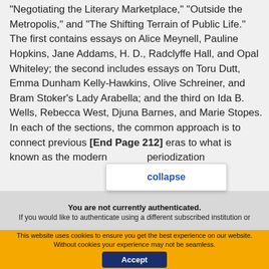"Negotiating the Literary Marketplace," "Outside the Metropolis," and "The Shifting Terrain of Public Life." The first contains essays on Alice Meynell, Pauline Hopkins, Jane Addams, H. D., Radclyffe Hall, and Opal Whiteley; the second includes essays on Toru Dutt, Emma Dunham Kelly-Hawkins, Olive Schreiner, and Bram Stoker's Lady Arabella; and the third on Ida B. Wells, Rebecca West, Djuna Barnes, and Marie Stopes. In each of the sections, the common approach is to connect previous [End Page 212] eras to what is known as the modern... periodization
collapse
You are not currently authenticated. If you would like to authenticate using a different subscribed institution or
This website uses cookies to ensure you get the best experience on our website. Without cookies your experience may not be seamless.
Accept